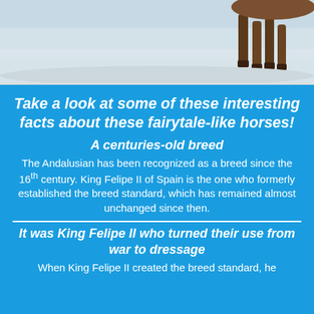[Figure (photo): Partial photo of a horse running, showing legs against a light sandy/snowy background. Only the lower portion of the horse and its legs are visible.]
Take a look at some of these interesting facts about these fairytale-like horses!
A centuries-old breed
The Andalusian has been recognized as a breed since the 16th century. King Felipe II of Spain is the one who formerly established the breed standard, which has remained almost unchanged since then.
It was King Felipe II who turned their use from war to dressage
When King Felipe II created the breed standard, he